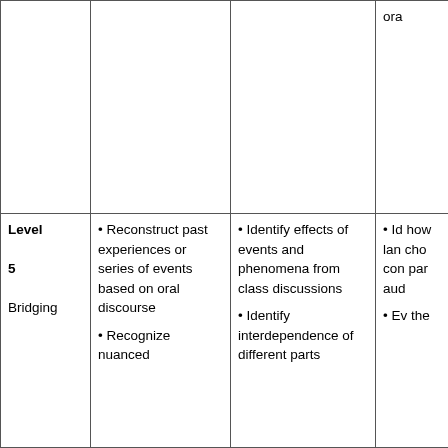|  |  |  | ora |
| Level
5
Bridging | • Reconstruct past experiences or series of events based on oral discourse
• Recognize nuanced | • Identify effects of events and phenomena from class discussions
• Identify interdependence of different parts | • Id how lan cho con par aud
• Ev the |